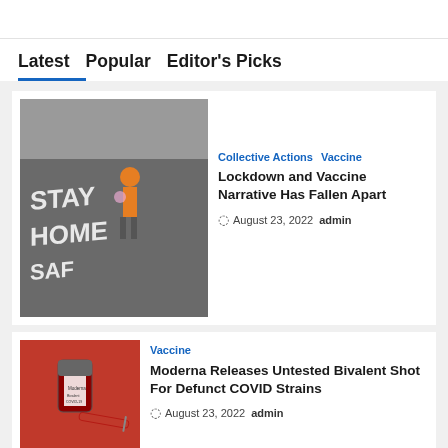Latest  Popular  Editor's Picks
[Figure (photo): Person in orange vest standing on pavement with 'STAY HOME SAFE' painted in large letters on the ground]
Collective Actions  Vaccine
Lockdown and Vaccine Narrative Has Fallen Apart
⊙ August 23, 2022  admin
[Figure (photo): Red vaccine vial with syringe on red background]
Vaccine
Moderna Releases Untested Bivalent Shot For Defunct COVID Strains
⊙ August 23, 2022  admin
Collective Actions
Misinformation and Fear-Mongering...